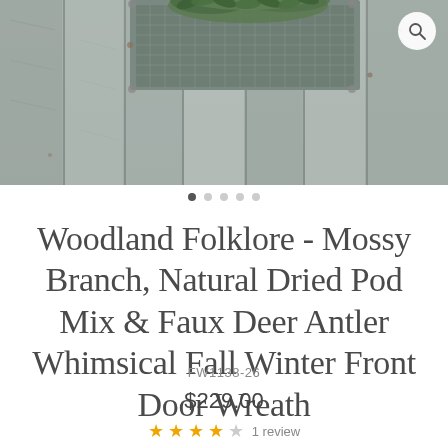[Figure (photo): Rustic weathered wooden barn door with metal wire mesh window, partially visible green wreath hanging behind the mesh. Aged gray wood planks with visible grain and rust marks.]
Woodland Folklore - Mossy Branch, Natural Dried Pod Mix & Faux Deer Antler Whimsical Fall Winter Front Door Wreath
FW1138-26
$229.00
★★★★☆ 1 review